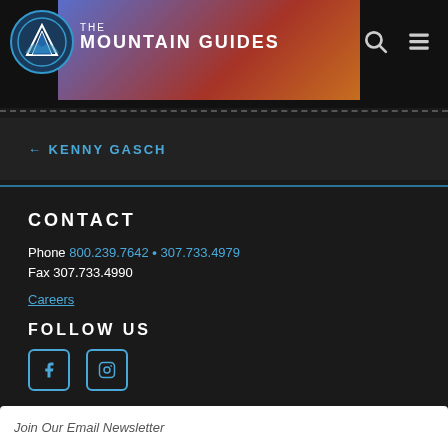THE MOUNTAIN GUIDES
← KENNY GASCH
CONTACT
Phone 800.239.7642 • 307.733.4979
Fax 307.733.4990
Careers
FOLLOW US
[Figure (other): Facebook and Instagram social media icons]
Join Our Email Newsletter